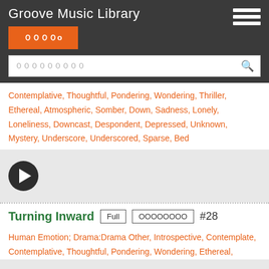Groove Music Library
００００
０００００００００
Contemplative, Thoughtful, Pondering, Wondering, Thriller, Ethereal, Atmospheric, Somber, Down, Sadness, Lonely, Loneliness, Downcast, Despondent, Depressed, Unknown, Mystery, Underscore, Underscored, Sparse, Bed
[Figure (other): Music player with play button on gray background]
Turning Inward  Full  ０００００００  #28
Human Emotion; Drama:Drama Other, Introspective, Contemplate, Contemplative, Thoughtful, Pondering, Wondering, Ethereal, Atmospheric, Somber, Down, Sadness, Lonely, Loneliness, Downcast, Despondent, Depressed